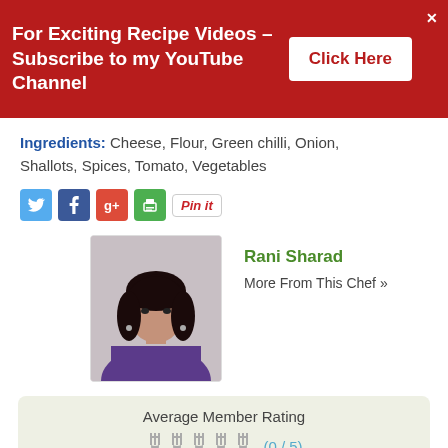[Figure (infographic): Red banner advertisement for YouTube channel subscription with 'Click Here' button and close X]
Ingredients: Cheese, Flour, Green chilli, Onion, Shallots, Spices, Tomato, Vegetables
[Figure (infographic): Social sharing icons: Twitter, Facebook, Google+, Print, Pinterest Pin it button]
[Figure (photo): Profile photo of chef Rani Sharad]
Rani Sharad
More From This Chef »
Average Member Rating
(0 / 5)
Rate this recipe
0 people rated this recipe